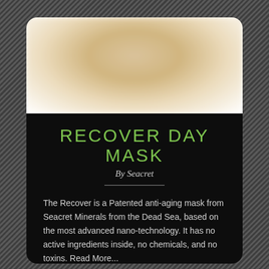[Figure (photo): Product image of Seacret Recover Day Mask container, blurred, shown at top of card on white background]
RECOVER DAY MASK
By Seacret
The Recover is a Patented anti-aging mask from Seacret Minerals from the Dead Sea, based on the most advanced nano-technology. It has no active ingredients inside, no chemicals, and no toxins. Read More...